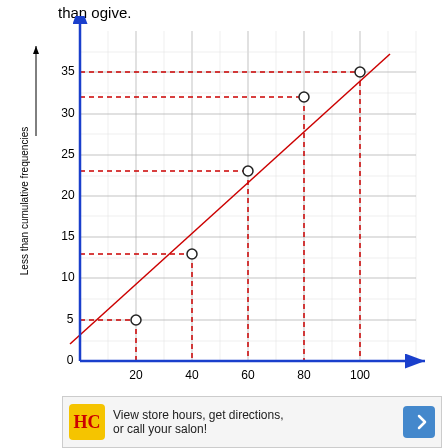than ogive.
[Figure (line-chart): Less than ogive]
Upper limits →